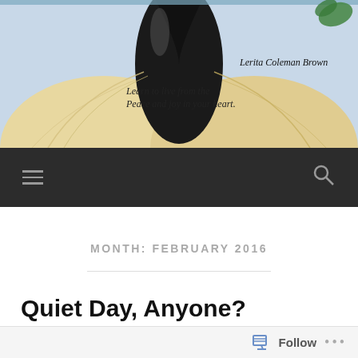[Figure (photo): Blog header image showing an open book with pages folded into a heart shape, with a light blue/grey background, tagline 'Learn to live from the Peace and joy in your heart.' and author name 'Lerita Coleman Brown' in script font]
≡  🔍
MONTH: FEBRUARY 2016
Quiet Day, Anyone?
FEBRUARY 22, 2016  /  LEAVE A COMMENT
Follow  ...